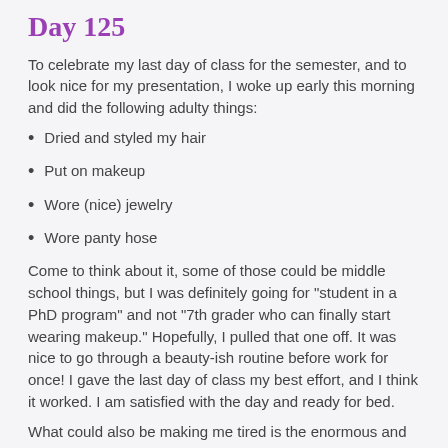Day 125
To celebrate my last day of class for the semester, and to look nice for my presentation, I woke up early this morning and did the following adulty things:
Dried and styled my hair
Put on makeup
Wore (nice) jewelry
Wore panty hose
Come to think about it, some of those could be middle school things, but I was definitely going for "student in a PhD program" and not "7th grader who can finally start wearing makeup." Hopefully, I pulled that one off. It was nice to go through a beauty-ish routine before work for once! I gave the last day of class my best effort, and I think it worked. I am satisfied with the day and ready for bed.
What could also be making me tired is the enormous and